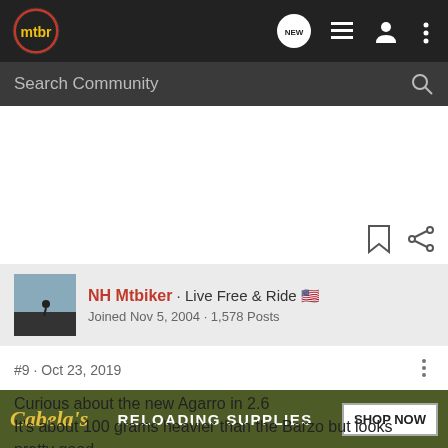[Figure (logo): mtbr logo - yellow text 'mtbr' inside a red circle on dark background]
[Figure (screenshot): Navigation bar with new message bubble, list icon, user icon, and more options icon]
[Figure (screenshot): Search Community search bar on dark background]
[Figure (screenshot): Bookmark and share icons]
[Figure (photo): User avatar showing a silhouette of a mountain biker]
NH Mtbiker · Live Free & Ride 🇺🇸
Joined Nov 5, 2004 · 1,578 Posts
#9 · Oct 23, 2019
Curious about the new Agarro in 2.6
It's about 100 grams heavier than the Barzo but looks pretty good...
[Figure (infographic): Cabela's advertisement banner - Reloading Supplies - Shop Now]